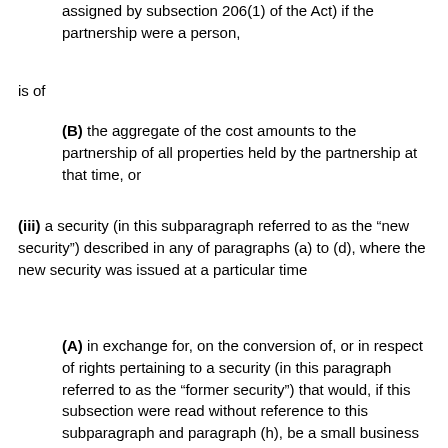assigned by subsection 206(1) of the Act) if the partnership were a person,
is of
(B) the aggregate of the cost amounts to the partnership of all properties held by the partnership at that time, or
(iii) a security (in this subparagraph referred to as the “new security”) described in any of paragraphs (a) to (d), where the new security was issued at a particular time
(A) in exchange for, on the conversion of, or in respect of rights pertaining to a security (in this paragraph referred to as the “former security”) that would, if this subsection were read without reference to this subparagraph and paragraph (h), be a small business security of the person immediately before the particular time, and